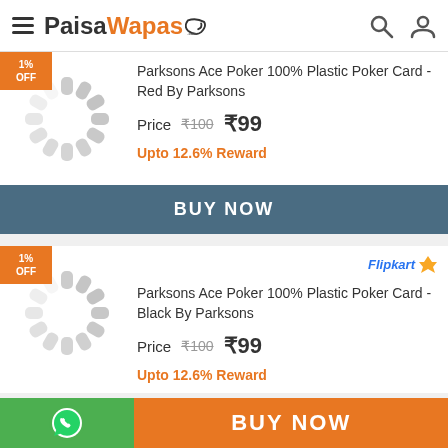PaisaWapas.com
Parksons Ace Poker 100% Plastic Poker Card - Red By Parksons
Price ₹100 ₹99
Upto 12.6% Reward
BUY NOW
1% OFF
Flipkart
Parksons Ace Poker 100% Plastic Poker Card - Black By Parksons
Price ₹100 ₹99
Upto 12.6% Reward
BUY NOW